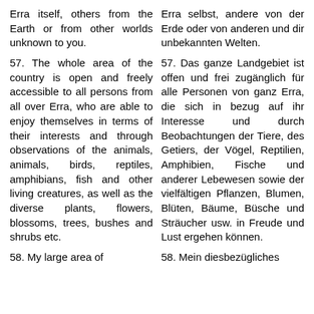Erra itself, others from the Earth or from other worlds unknown to you.
Erra selbst, andere von der Erde oder von anderen und dir unbekannten Welten.
57. The whole area of the country is open and freely accessible to all persons from all over Erra, who are able to enjoy themselves in terms of their interests and through observations of the animals, animals, birds, reptiles, amphibians, fish and other living creatures, as well as the diverse plants, flowers, blossoms, trees, bushes and shrubs etc.
57. Das ganze Landgebiet ist offen und frei zugänglich für alle Personen von ganz Erra, die sich in bezug auf ihr Interesse und durch Beobachtungen der Tiere, des Getiers, der Vögel, Reptilien, Amphibien, Fische und anderer Lebewesen sowie der vielfältigen Pflanzen, Blumen, Blüten, Bäume, Büsche und Sträucher usw. in Freude und Lust ergehen können.
58. My large area of
58. Mein diesbezügliches